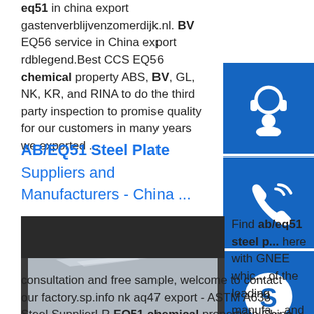eq51 in china export gastenverblijvenzomerdijk.nl. BV EQ56 service in China export rdblegend.Best CCS EQ56 chemical property ABS, BV, GL, NK, KR, and RINA to do the third party inspection to promise quality for our customers in many years we exported ...
[Figure (illustration): Blue sidebar icons: headset/customer service, phone, and Skype logo]
AB/EQ51 Steel Plate Suppliers and Manufacturers - China ...
[Figure (photo): Photo of a shiny metallic steel plate stacked on wooden pallets in a warehouse setting]
Find ab/eq51 steel p... here with GNEE whic... of the leading manufa... and suppliers in Chin... have bulk hot sale products in stock at your choice. For chemical composition
consultation and free sample, welcome to contact our factory.sp.info nk aq47 export - ASTM A633 Steel SupplierLR EQ51 chemical property in China export - Best Chian Steel. Now If you have any doubts to the